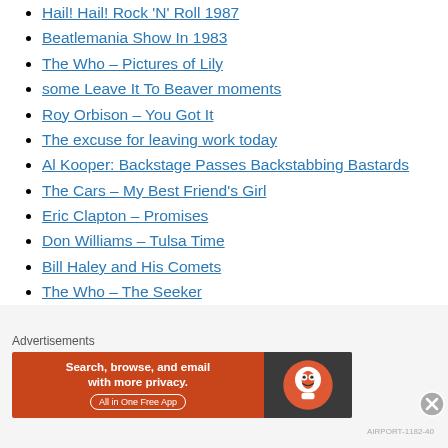Hail! Hail! Rock 'N' Roll 1987
Beatlemania Show In 1983
The Who – Pictures of Lily
some Leave It To Beaver moments
Roy Orbison – You Got It
The excuse for leaving work today
Al Kooper: Backstage Passes Backstabbing Bastards
The Cars – My Best Friend's Girl
Eric Clapton – Promises
Don Williams – Tulsa Time
Bill Haley and His Comets
The Who – The Seeker
Advertisements
[Figure (screenshot): DuckDuckGo advertisement banner: 'Search, browse, and email with more privacy. All in One Free App' with DuckDuckGo logo on dark background]